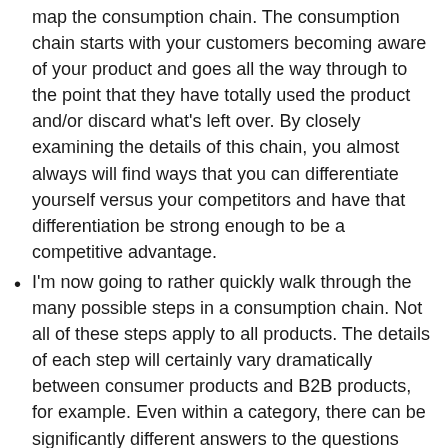map the consumption chain. The consumption chain starts with your customers becoming aware of your product and goes all the way through to the point that they have totally used the product and/or discard what's left over. By closely examining the details of this chain, you almost always will find ways that you can differentiate yourself versus your competitors and have that differentiation be strong enough to be a competitive advantage.
I'm now going to rather quickly walk through the many possible steps in a consumption chain. Not all of these steps apply to all products. The details of each step will certainly vary dramatically between consumer products and B2B products, for example. Even within a category, there can be significantly different answers to the questions you want to examine as you map your consumption chain.
Let's get started. First, how do people become aware of their need for your product or service? Does a